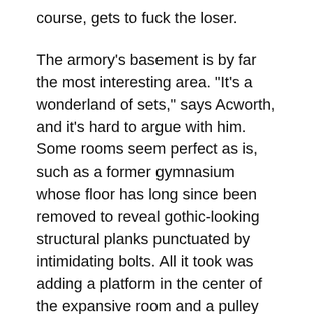course, gets to fuck the loser.
The armory's basement is by far the most interesting area. "It's a wonderland of sets," says Acworth, and it's hard to argue with him. Some rooms seem perfect as is, such as a former gymnasium whose floor has long since been removed to reveal gothic-looking structural planks punctuated by intimidating bolts. All it took was adding a platform in the center of the expansive room and a pulley above it to make it a perfect bondage set. Next door is an army-style communal bathroom, another favorite as-is set. Other rooms on this floor are a completely furnished 1970s New York loft; a padded cell with an observation room connected by a one-way mirror; a former hermetically sealed